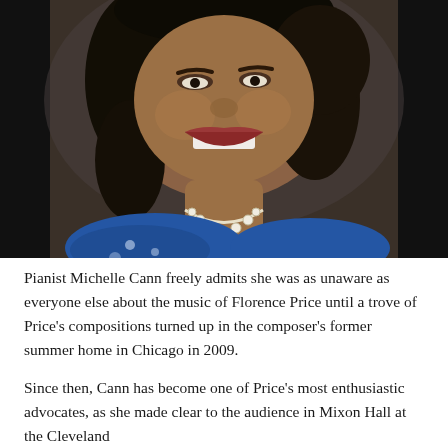[Figure (photo): Portrait photograph of pianist Michelle Cann, a Black woman smiling broadly, wearing a diamond necklace and blue patterned top, photographed against a dark background.]
Pianist Michelle Cann freely admits she was as unaware as everyone else about the music of Florence Price until a trove of Price's compositions turned up in the composer's former summer home in Chicago in 2009.
Since then, Cann has become one of Price's most enthusiastic advocates, as she made clear to the audience in Mixon Hall at the Cleveland